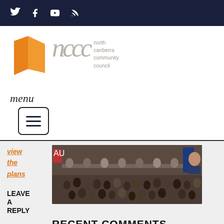Social media icons: Twitter, Facebook, YouTube, RSS
[Figure (logo): North Canberra Community Council logo with orange angular shape and nccc letters in grey serif italic, with text 'north canberra community council']
menu
[Figure (other): Hamburger menu button with three horizontal lines inside a rounded rectangle border]
[Figure (photo): A large community meeting or forum with many people seated facing a panel at the front of a conference room, with Australian flag visible]
view the plans
LEAVE A REPLY
RECENT COMMENTS